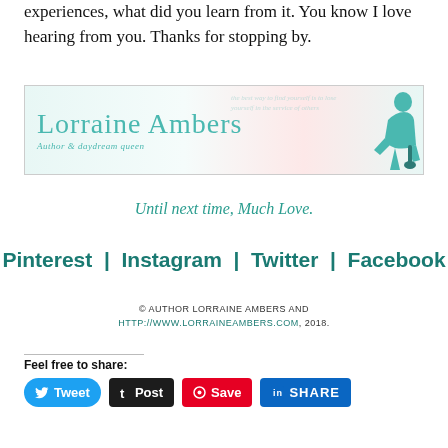experiences, what did you learn from it. You know I love hearing from you. Thanks for stopping by.
[Figure (logo): Lorraine Ambers author logo banner with teal cursive name text, tagline 'Author & daydream queen', decorative background script text, and teal female silhouette on right]
Until next time, Much Love.
Pinterest   Instagram   Twitter   Facebook
© AUTHOR LORRAINE AMBERS AND HTTP://WWW.LORRAINEAMBERS.COM, 2018.
Feel free to share:
[Figure (screenshot): Social share buttons: Tweet (blue rounded), Post (black tumblr), Save (red pinterest), SHARE (blue linkedin)]